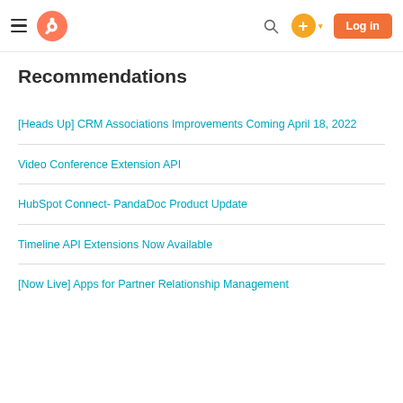HubSpot navigation bar with hamburger menu, logo, search, plus button, and Log in button
Recommendations
[Heads Up] CRM Associations Improvements Coming April 18, 2022
Video Conference Extension API
HubSpot Connect- PandaDoc Product Update
Timeline API Extensions Now Available
[Now Live] Apps for Partner Relationship Management